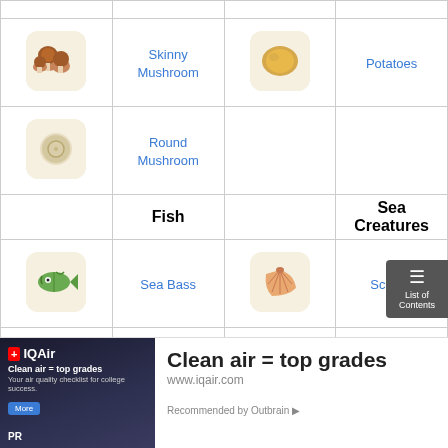|  | Fish |  | Sea Creatures |
| --- | --- | --- | --- |
| [mushroom icon] | Skinny Mushroom | [potato icon] | Potatoes |
| [shell icon] | Round Mushroom |  |  |
|  | Fish |  | Sea Creatures |
| [sea bass icon] | Sea Bass | [scallop icon] | Scallop |
| [red snapper icon] | Red Snapper | [mussel icon] | Mussel |
[Figure (infographic): IQAir advertisement banner: Clean air = top grades, www.iqair.com, Recommended by Outbrain]